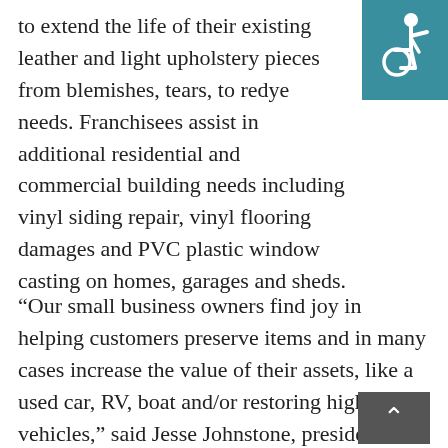[Figure (illustration): Wheelchair accessibility icon — white figure in wheelchair on teal/dark cyan background square, top-right corner of page]
to extend the life of their existing leather and light upholstery pieces from blemishes, tears, to redye needs. Franchisees assist in additional residential and commercial building needs including vinyl siding repair, vinyl flooring damages and PVC plastic window casting on homes, garages and sheds.
“Our small business owners find joy in helping customers preserve items and in many cases increase the value of their assets, like a used car, RV, boat and/or restoring high-end vehicles,” said Jesse Johnstone, president of Fibrenew. “It’s rewarding and fun to see the work of our men and women business owners use their attention to detail and unique set of skills and our proprietary color matching technology to restore everything from couches, restaurant booths, medical exam tables, boat
[Figure (illustration): Dark grey scroll-to-top button with upward pointing chevron arrow, positioned at bottom-right area of page]